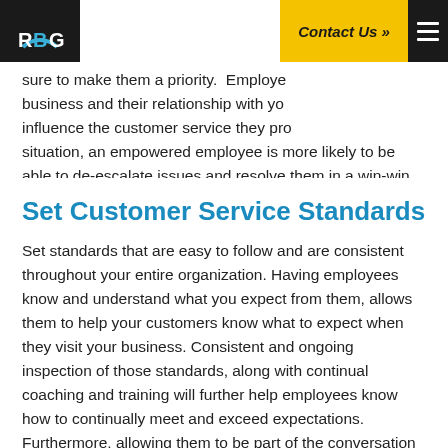RBG | Contact Us »
sure to make them a priority.  Employees business and their relationship with your influence the customer service they provide situation, an empowered employee is more likely to be able to de-escalate issues and resolve them in a win-win fashion.  This small investment of trust can really help your employees feel connected and valued, giving them a sense of pride and ownership in their work.
Set Customer Service Standards
Set standards that are easy to follow and are consistent throughout your entire organization. Having employees know and understand what you expect from them, allows them to help your customers know what to expect when they visit your business. Consistent and ongoing inspection of those standards, along with continual coaching and training will further help employees know how to continually meet and exceed expectations. Furthermore, allowing them to be part of the conversation around coaching and train will deepen their connection to both your business and your customers.
Customer service can be the ultimate differentiator for any business, but especially for those in a crowded market. By understanding your customer's needs and personalizing your